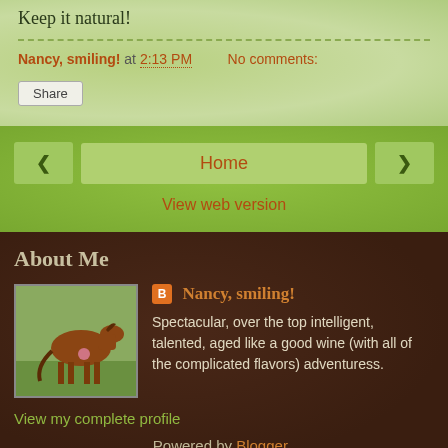Keep it natural!
Nancy, smiling! at 2:13 PM   No comments:
Share
Home
View web version
About Me
Nancy, smiling!
Spectacular, over the top intelligent, talented, aged like a good wine (with all of the complicated flavors) adventuress.
View my complete profile
Powered by Blogger.